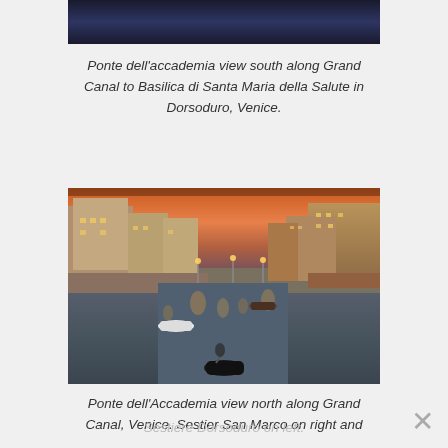[Figure (photo): Partial view of a dark nighttime photo of Venice canals, cropped at top of page]
Ponte dell'accademia view south along Grand Canal to Basilica di Santa Maria della Salute in Dorsoduro, Venice.
[Figure (photo): Ponte dell'Accademia view north along Grand Canal at dusk/sunset, Venice. Buildings lining both sides of canal, boats on water including a gondola in foreground, orange-pink sky in background.]
Ponte dell'Accademia view north along Grand Canal, Venice. Sestier San Marco on right and Sestiere Dorsoduro on left.